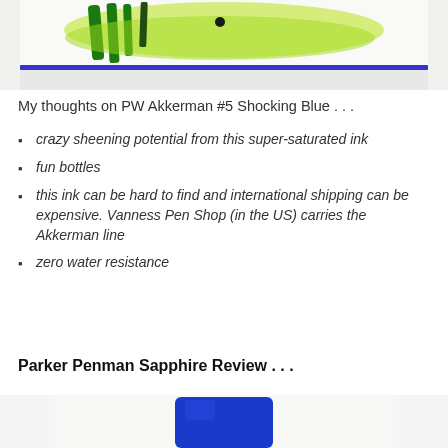[Figure (photo): Close-up photo of fountain pen ink writing on paper showing green and yellow ink strokes with a blue horizontal line, demonstrating ink sheen]
My thoughts on PW Akkerman #5 Shocking Blue . . .
crazy sheening potential from this super-saturated ink
fun bottles
this ink can be hard to find and international shipping can be expensive. Vanness Pen Shop (in the US) carries the Akkerman line
zero water resistance
Parker Penman Sapphire Review . . .
[Figure (photo): Partial photo showing bottom portion of what appears to be a blue ink bottle or pen-related product]